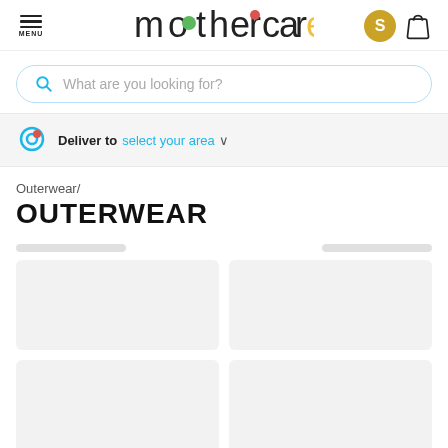[Figure (logo): Mothercare logo with colorful dots on letters]
[Figure (screenshot): Search bar with placeholder 'What are you looking for?']
Deliver to  select your area
Outerwear/
OUTERWEAR
[Figure (screenshot): Product grid with skeleton loading placeholder cards]